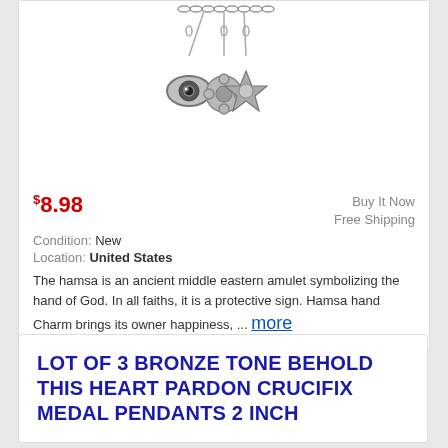[Figure (photo): Silver charm bracelet with hanging charms including an eye charm, floral charm, and compass/star charm on chains, photographed from above against white background]
$8.98
Buy It Now
Free Shipping
Condition: New
Location: United States
The hamsa is an ancient middle eastern amulet symbolizing the hand of God. In all faiths, it is a protective sign. Hamsa hand Charm brings its owner happiness, ... more
LOT OF 3 BRONZE TONE BEHOLD THIS HEART PARDON CRUCIFIX MEDAL PENDANTS 2 INCH
[Figure (photo): Bronze tone crucifix medal pendant, partial view]